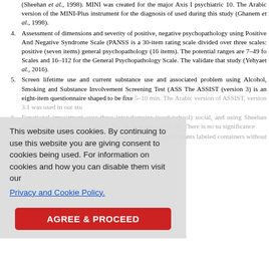(Sheehan et al., 1998). MINI was created for the major Axis I psychiatric... 10. The Arabic version of the MINI-Plus instrument for the diagnosis of... used during this study (Ghanem et al., 1998).
4. Assessment of dimensions and severity of positive, negative... psychopathology using Positive And Negative Syndrome Scale (PANSS)... is a 30-item rating scale divided over three scales: positive (seven items)... general psychopathology (16 items). The potential ranges are 7–49 fo... Scales and 16–112 for the General Psychopathology Scale. The validate... that study (Yehyaet al., 2016).
5. Screen lifetime use and current substance use and associated problem... using Alcohol, Smoking and Substance Involvement Screening Test (ASS... The ASSIST (version 3) is an eight-item questionnaire shaped to be fixe... 5–10 min. The Arabic version of ASSIST, version 3.1 was use d in our stu...
6. Functional impairment over three inter-domains (work/school... social, and... using Sheehan Disability Scale (Sheehan, 1983). The three domains o... 0–30. There is no su... significance...
7. A tona urine... 20 ml of urine were gathered from all participants... labeled containers without preservatives.
Cookie notice: This website uses cookies. By continuing to use this website you are giving consent to cookies being used. For information on cookies and how you can disable them visit our Privacy and Cookie Policy.
Statistical analysis
Statistics are implied, managed, and analyzed using SPSS, version 16 (IBM C... USA). Categorical data were introduced as number and percentage. Continuo...